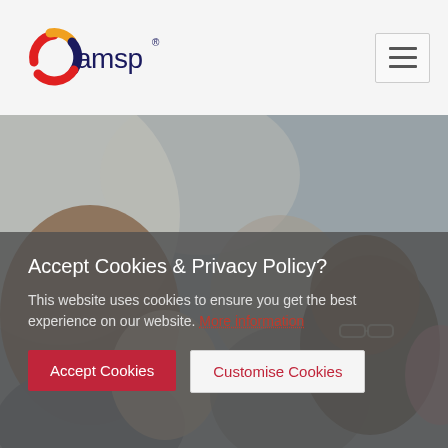[Figure (logo): AMSP logo — coloured swirl (red, gold, dark blue) beside the text 'amsp' with a registered trademark symbol]
[Figure (photo): Blurred photograph of students or educators collaborating; several people seen from behind or in profile, one person with glasses prominent on the right]
Accept Cookies & Privacy Policy?
This website uses cookies to ensure you get the best experience on our website. More information
Accept Cookies
Customise Cookies